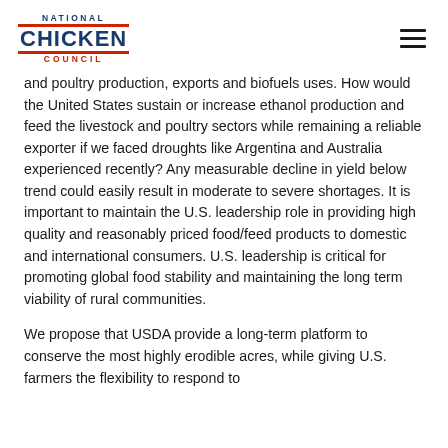National Chicken Council
and poultry production, exports and biofuels uses. How would the United States sustain or increase ethanol production and feed the livestock and poultry sectors while remaining a reliable exporter if we faced droughts like Argentina and Australia experienced recently? Any measurable decline in yield below trend could easily result in moderate to severe shortages. It is important to maintain the U.S. leadership role in providing high quality and reasonably priced food/feed products to domestic and international consumers. U.S. leadership is critical for promoting global food stability and maintaining the long term viability of rural communities.
We propose that USDA provide a long-term platform to conserve the most highly erodible acres, while giving U.S. farmers the flexibility to respond to